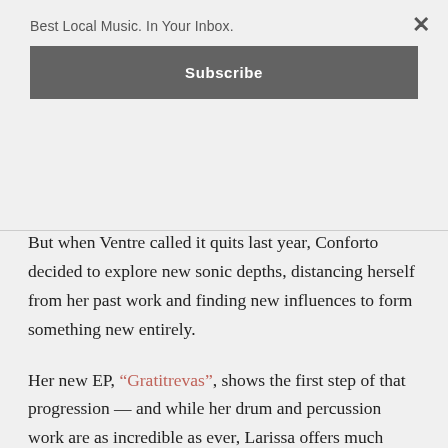Best Local Music. In Your Inbox.
Subscribe
But when Ventre called it quits last year, Conforto decided to explore new sonic depths, distancing herself from her past work and finding new influences to form something new entirely.
Her new EP, “Gratitrevas”, shows the first step of that progression — and while her drum and percussion work are as incredible as ever, Larissa offers much more with beautiful vocal layering, atmospheric synth work and creative guitar and bass lines.
While “Gratitrevas” is deeply rooted to trip-hop and